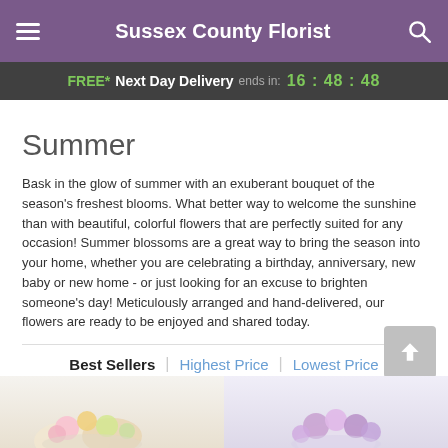Sussex County Florist
FREE* Next Day Delivery ends in: 16:48:48
Summer
Bask in the glow of summer with an exuberant bouquet of the season's freshest blooms. What better way to welcome the sunshine than with beautiful, colorful flowers that are perfectly suited for any occasion! Summer blossoms are a great way to bring the season into your home, whether you are celebrating a birthday, anniversary, new baby or new home - or just looking for an excuse to brighten someone's day! Meticulously arranged and hand-delivered, our flowers are ready to be enjoyed and shared today.
Best Sellers | Highest Price | Lowest Price
[Figure (photo): Two flower bouquet thumbnails partially visible at bottom of page]